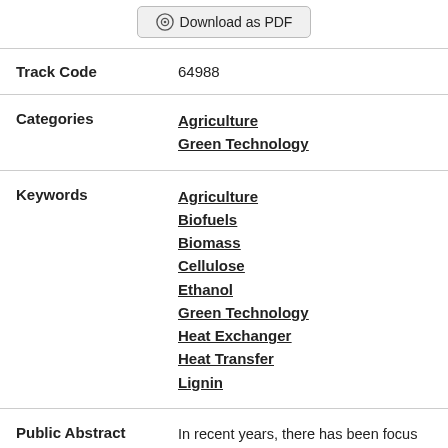Download as PDF
| Field | Value |
| --- | --- |
| Track Code | 64988 |
| Categories | Agriculture
Green Technology |
| Keywords | Agriculture
Biofuels
Biomass
Cellulose
Ethanol
Green Technology
Heat Exchanger
Heat Transfer
Lignin |
| Public Abstract | In recent years, there has been focus in producing fuels from renewable, non-petroleum |